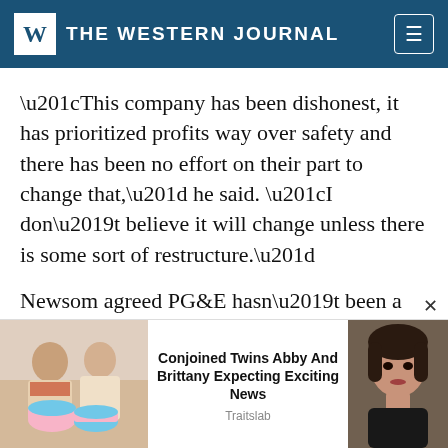THE WESTERN JOURNAL
“This company has been dishonest, it has prioritized profits way over safety and there has been no effort on their part to change that,” he said. “I don’t believe it will change unless there is some sort of restructure.”
Newsom agreed PG&E hasn’t been a “trusted actor” in the past but said the state must work collaboratively with the utility. He noted that a portion of the utility’s
[Figure (photo): Advertisement overlay with photo of two women holding cakes on the left, text in center reading 'Conjoined Twins Abby And Brittany Expecting Exciting News' by Traitslab, and photo of a woman on the right.]